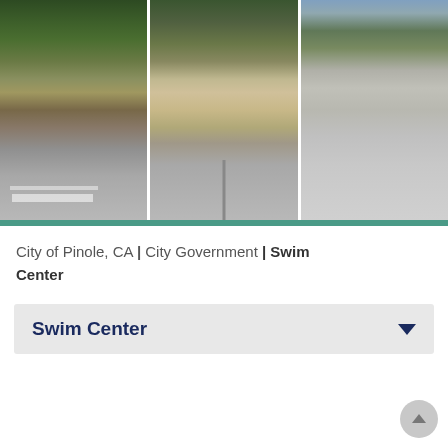[Figure (photo): Three outdoor photos side by side showing a city facility — a parking lot with crosswalk and trees on the left, a small building/office with columns and trees in the center, and a street/parking area with trees and a gray building on the right. A white vertical divider separates each panel.]
City of Pinole, CA | City Government | Swim Center
Swim Center